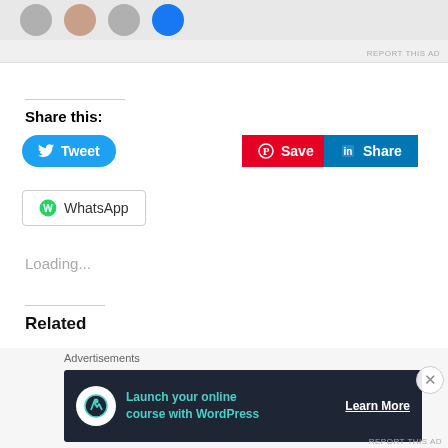[Figure (screenshot): Top advertisement area with profile avatars and 'REPORT THIS AD' text]
Share this:
[Figure (screenshot): Tweet button (blue rounded), Save button (red, Pinterest), Share button (blue, LinkedIn), WhatsApp button (outlined)]
Loading...
Related
[Figure (illustration): Two emoji monkey face illustrations side by side in the Related section]
[Figure (screenshot): Bottom advertisement banner: 'Launch your online course with WordPress' with Learn More button and close X button. Label: Advertisements]